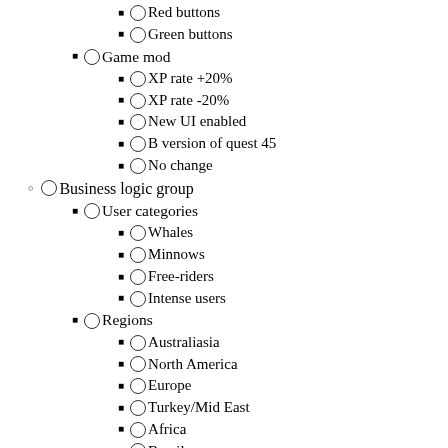○ Red buttons
○ Green buttons
○ Game mod
○ XP rate +20%
○ XP rate -20%
○ New UI enabled
○ B version of quest 45
○ No change
○ Business logic group
○ User categories
○ Whales
○ Minnows
○ Free-riders
○ Intense users
○ Regions
○ Australiasia
○ North America
○ Europe
○ Turkey/Mid East
○ Africa
○ Brazil
○ Language Set
○ English